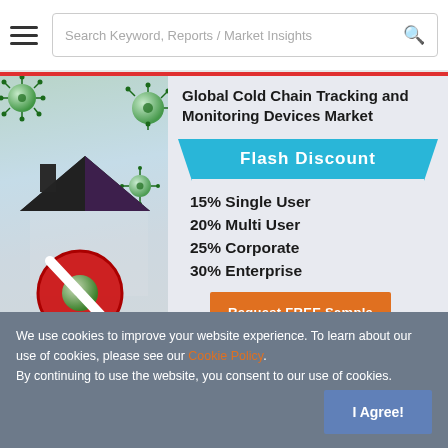Search Keyword, Reports / Market Insights
Global Cold Chain Tracking and Monitoring Devices Market
Flash Discount
15% Single User
20% Multi User
25% Corporate
30% Enterprise
Request FREE Sample
[Figure (illustration): Stay Home Stay Safe COVID-19 illustration with house icon and coronavirus particles]
We use cookies to improve your website experience. To learn about our use of cookies, please see our Cookie Policy.
By continuing to use the website, you consent to our use of cookies.
I Agree!